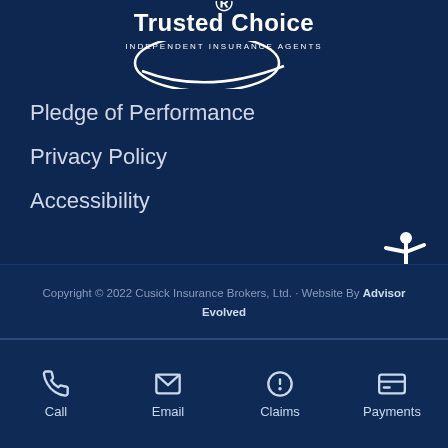[Figure (logo): Trusted Choice Independent Insurance Agents logo — white text and arc on dark navy background]
Pledge of Performance
Privacy Policy
Accessibility
[Figure (illustration): Accessibility wheelchair icon in white]
Copyright © 2022 Cusick Insurance Brokers, Ltd. · Website By Advisor Evolved
Call  Email  Claims  Payments